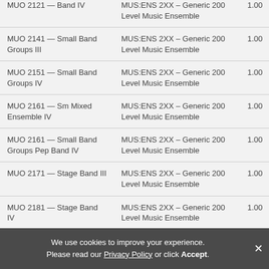| Course | Equivalent | Credits |
| --- | --- | --- |
| MUO 2121 — Band IV | MUS:ENS 2XX – Generic 200 Level Music Ensemble | 1.00 |
| MUO 2141 — Small Band Groups III | MUS:ENS 2XX – Generic 200 Level Music Ensemble | 1.00 |
| MUO 2151 — Small Band Groups IV | MUS:ENS 2XX – Generic 200 Level Music Ensemble | 1.00 |
| MUO 2161 — Sm Mixed Ensemble IV | MUS:ENS 2XX – Generic 200 Level Music Ensemble | 1.00 |
| MUO 2161 — Small Band Groups Pep Band IV | MUS:ENS 2XX – Generic 200 Level Music Ensemble | 1.00 |
| MUO 2171 — Stage Band III | MUS:ENS 2XX – Generic 200 Level Music Ensemble | 1.00 |
| MUO 2181 — Stage Band IV | MUS:ENS 2XX – Generic 200 Level Music Ensemble | 1.00 |
We use cookies to improve your experience. Please read our Privacy Policy or click Accept.